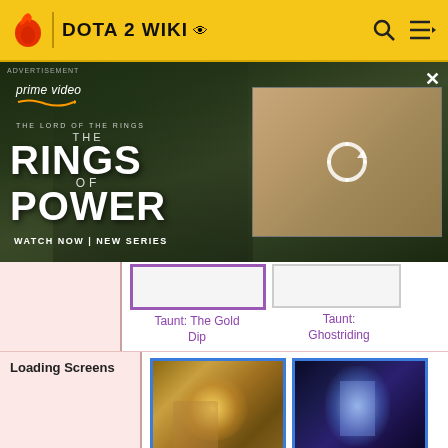DOTA 2 WIKI
[Figure (photo): Amazon Prime Video advertisement for The Lord of the Rings: The Rings of Power. Shows two characters from the show with text 'WATCH NOW | NEW SERIES'. A refresh/loading thumbnail is shown in the upper right of the ad.]
Taunt: The Gold Dip
Taunt: Ghostriding
Loading Screens
Nemestice 2021 Loading Screen I
Nemestice 2021 Loading Screen II